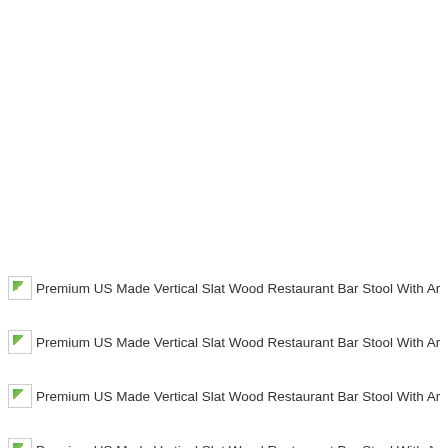Premium US Made Vertical Slat Wood Restaurant Bar Stool With Arms
Premium US Made Vertical Slat Wood Restaurant Bar Stool With Arms
Premium US Made Vertical Slat Wood Restaurant Bar Stool With Arms
Premium US Made Vertical Slat Wood Restaurant Bar Stool With Arms
Premium US Made Vertical Slat Wood Restaurant Bar Stool With Arms